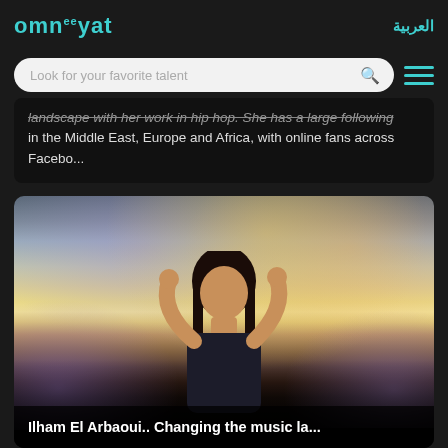omneeyat | العربية
Look for your favorite talent
landscape with her work in hip hop. She has a large following in the Middle East, Europe and Africa, with online fans across Facebo...
[Figure (photo): A woman performing outdoors at dusk with arms raised, surrounded by colorful smoke]
Ilham El Arbaoui.. Changing the music la...